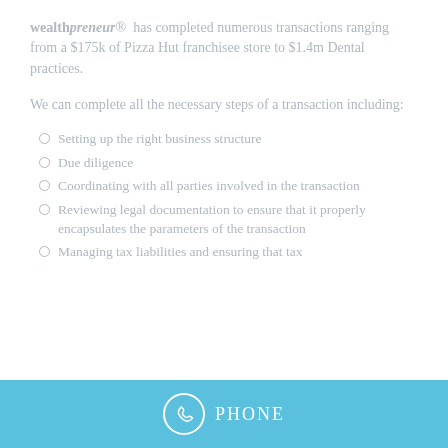wealthpreneur® has completed numerous transactions ranging from a $175k of Pizza Hut franchisee store to $1.4m Dental practices.
We can complete all the necessary steps of a transaction including:
Setting up the right business structure
Due diligence
Coordinating with all parties involved in the transaction
Reviewing legal documentation to ensure that it properly encapsulates the parameters of the transaction
Managing tax liabilities and ensuring that tax
PHONE